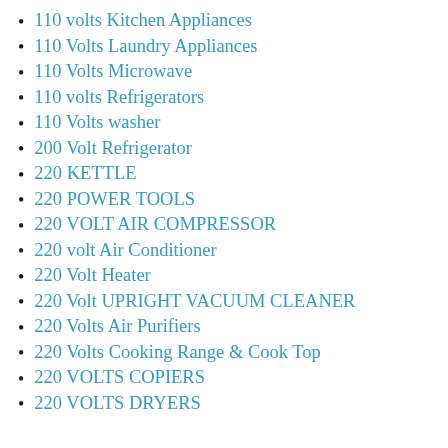110 volts Kitchen Appliances
110 Volts Laundry Appliances
110 Volts Microwave
110 volts Refrigerators
110 Volts washer
200 Volt Refrigerator
220 KETTLE
220 POWER TOOLS
220 VOLT AIR COMPRESSOR
220 volt Air Conditioner
220 Volt Heater
220 Volt UPRIGHT VACUUM CLEANER
220 Volts Air Purifiers
220 Volts Cooking Range & Cook Top
220 VOLTS COPIERS
220 VOLTS DRYERS